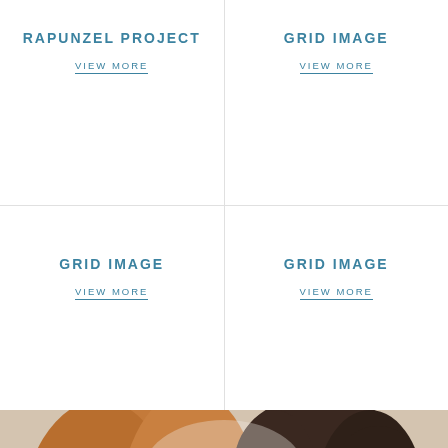RAPUNZEL PROJECT
VIEW MORE
GRID IMAGE
VIEW MORE
GRID IMAGE
VIEW MORE
GRID IMAGE
VIEW MORE
[Figure (photo): Two smiling women photographed together, one with long red/auburn hair on the left and one with dark hair pulled back on the right, against a light background.]